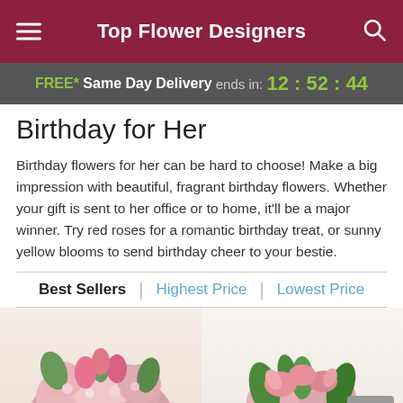Top Flower Designers
FREE* Same Day Delivery ends in: 12:52:44
Birthday for Her
Birthday flowers for her can be hard to choose! Make a big impression with beautiful, fragrant birthday flowers. Whether your gift is sent to her office or to home, it'll be a major winner. Try red roses for a romantic birthday treat, or sunny yellow blooms to send birthday cheer to your bestie.
Best Sellers | Highest Price | Lowest Price
[Figure (photo): Arrangement of pink roses, tulips, and small blooms in a bouquet - left product image]
[Figure (photo): Arrangement of pink alstroemeria and green foliage - right product image]